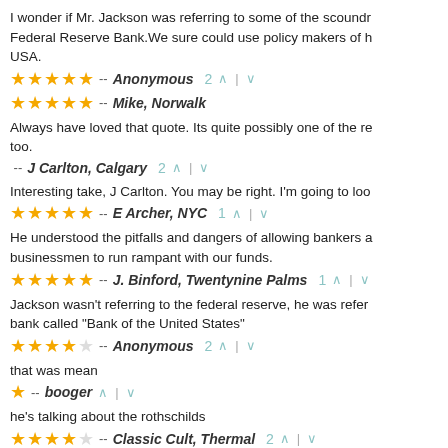I wonder if Mr. Jackson was referring to some of the scoundrels at the Federal Reserve Bank.We sure could use policy makers of his caliber in the USA.
★★★★★ -- Anonymous  2 ▲ | ▼
★★★★★ -- Mike, Norwalk
Always have loved that quote. Its quite possibly one of the re... too.
-- J Carlton, Calgary  2 ▲ | ▼
Interesting take, J Carlton. You may be right. I'm going to loo...
★★★★★ -- E Archer, NYC  1 ▲ | ▼
He understood the pitfalls and dangers of allowing bankers and businessmen to run rampant with our funds.
★★★★★ -- J. Binford, Twentynine Palms  1 ▲ | ▼
Jackson wasn't referring to the federal reserve, he was referring to a bank called "Bank of the United States"
★★★★ -- Anonymous  2 ▲ | ▼
that was mean
★ -- booger  ▲ | ▼
he's talking about the rothschilds
★★★★ -- Classic Cult, Thermal  2 ▲ | ▼